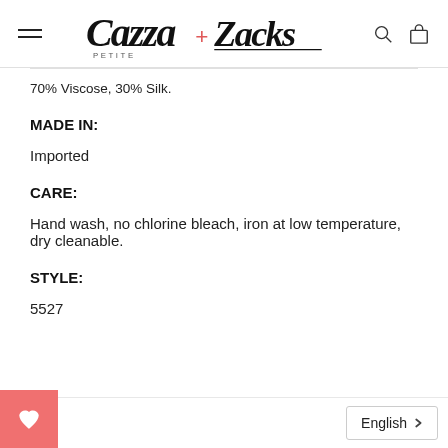Cazza + Zacks Petite [logo with navigation icons]
70% Viscose, 30% Silk.
MADE IN:
Imported
CARE:
Hand wash, no chlorine bleach, iron at low temperature, dry cleanable.
STYLE:
5527